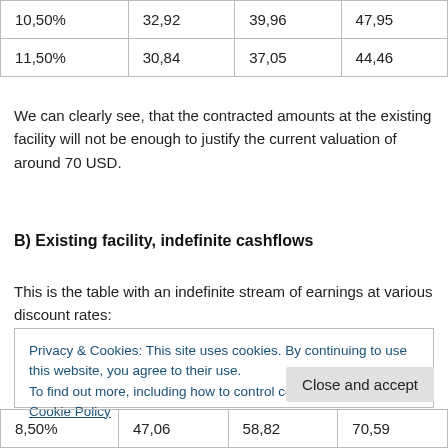| 10,50% | 32,92 | 39,96 | 47,95 |
| 11,50% | 30,84 | 37,05 | 44,46 |
We can clearly see, that the contracted amounts at the existing facility will not be enough to justify the current valuation of around 70 USD.
B) Existing facility, indefinite cashflows
This is the table with an indefinite stream of earnings at various discount rates:
Privacy & Cookies: This site uses cookies. By continuing to use this website, you agree to their use.
To find out more, including how to control cookies, see here: Cookie Policy
| 8,50% | 47,06 | 58,82 | 70,59 |